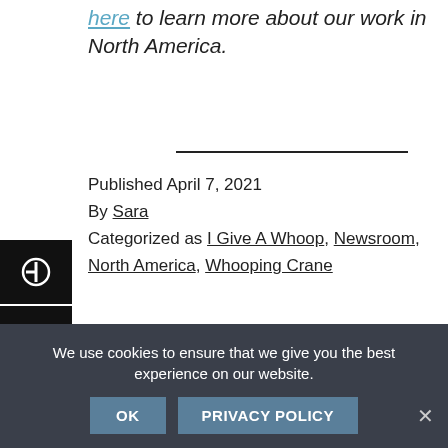here to learn more about our work in North America.
Published April 7, 2021
By Sara
Categorized as I Give A Whoop, Newsroom, North America, Whooping Crane
We use cookies to ensure that we give you the best experience on our website.